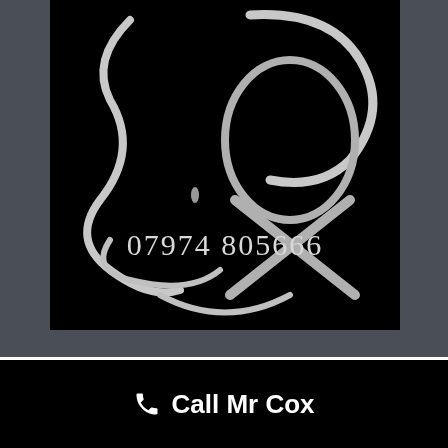[Figure (logo): Black background logo image with stylized 'Cox' lettering in white/grey calligraphic style, phone number '07974 805666' displayed in white text below the logo, and a partial curved shape at the bottom]
Call Mr Cox